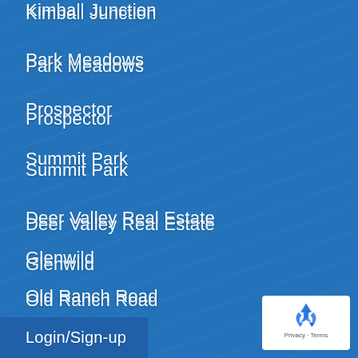Kimball Junction
Park Meadows
Prospector
Summit Park
Deer Valley Real Estate
Glenwild
Old Ranch Road
Pinebrook
Silver Creek Village
Thaynes Canyon
Login/Sign-up
[Figure (logo): reCAPTCHA logo with recycling arrows icon, Privacy and Terms links below]